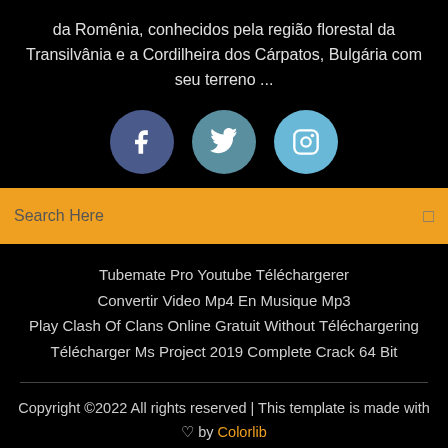da Romênia, conhecidos pela região florestal da Transilvânia e a Cordilheira dos Cárpatos, Bulgária com seu terreno ...
[Figure (infographic): Three social media icon circles: Facebook (dark blue), Twitter (teal), Instagram (light blue)]
[Figure (screenshot): Yellow search bar with text 'Search Here' on the left and a search icon on the right]
Tubemate Pro Youtube Téléchargerer
Convertir Video Mp4 En Musique Mp3
Play Clash Of Clans Online Gratuit Without Téléchargering
Télécharger Ms Project 2019 Complete Crack 64 Bit
Copyright ©2022 All rights reserved | This template is made with ♡ by Colorlib